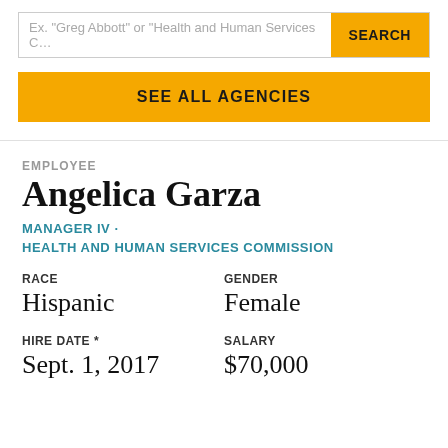Ex. "Greg Abbott" or "Health and Human Services C...
SEARCH
SEE ALL AGENCIES
EMPLOYEE
Angelica Garza
MANAGER IV · HEALTH AND HUMAN SERVICES COMMISSION
RACE
Hispanic
GENDER
Female
HIRE DATE *
Sept. 1, 2017
SALARY
$70,000